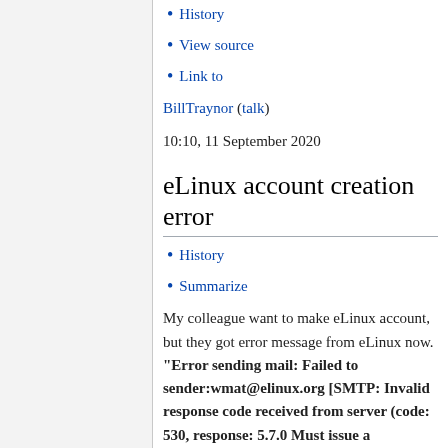History
View source
Link to
BillTraynor (talk)
10:10, 11 September 2020
eLinux account creation error
History
Summarize
My colleague want to make eLinux account, but they got error message from eLinux now. "Error sending mail: Failed to sender:wmat@elinux.org [SMTP: Invalid response code received from server (code: 530, response: 5.7.0 Must issue a STARTTLS command first)]" Could you tell me how to solve this issue? Also, when I made eLinux account at